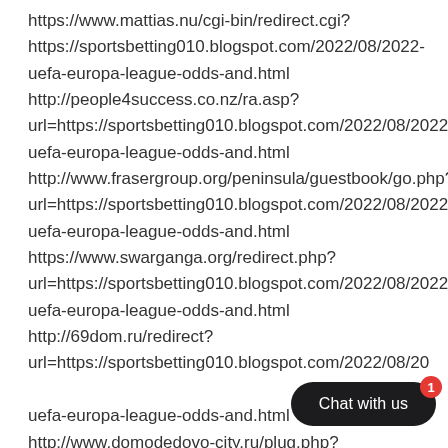https://www.mattias.nu/cgi-bin/redirect.cgi?
https://sportsbetting010.blogspot.com/2022/08/2022-uefa-europa-league-odds-and.html
http://people4success.co.nz/ra.asp?url=https://sportsbetting010.blogspot.com/2022/08/2022-uefa-europa-league-odds-and.html
http://www.frasergroup.org/peninsula/guestbook/go.php?url=https://sportsbetting010.blogspot.com/2022/08/2022-uefa-europa-league-odds-and.html
https://www.swarganga.org/redirect.php?url=https://sportsbetting010.blogspot.com/2022/08/2022-uefa-europa-league-odds-and.html
http://69dom.ru/redirect?url=https://sportsbetting010.blogspot.com/2022/08/2022-uefa-europa-league-odds-and.html
http://www.domodedovo-city.ru/plug.php?
[Figure (other): Chat with us widget button with red badge showing number 1]